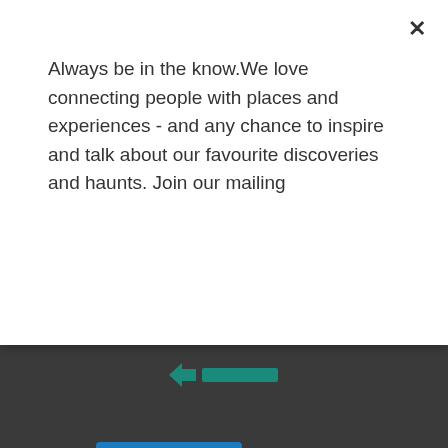[Figure (screenshot): Dark background website screenshot with a modal overlay popup]
Always be in the know.We love connecting people with places and experiences - and any chance to inspire and talk about our favourite discoveries and haunts. Join our mailing
Subscribe